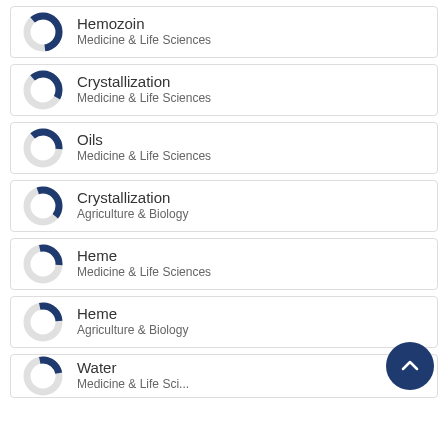Hemozoin — Medicine & Life Sciences
Crystallization — Medicine & Life Sciences
Oils — Medicine & Life Sciences
Crystallization — Agriculture & Biology
Heme — Medicine & Life Sciences
Heme — Agriculture & Biology
Water — Medicine & Life Sciences